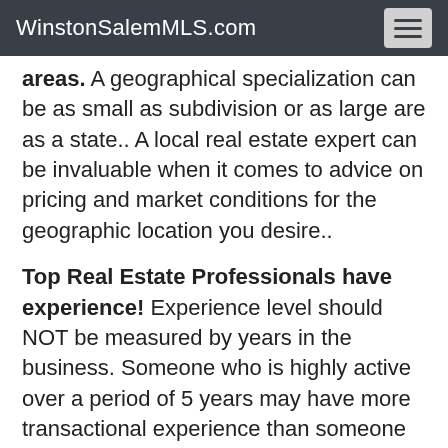WinstonSalemMLS.com
…p…                         …g p… areas. A geographical specialization can be as small as subdivision or as large are as a state.. A local real estate expert can be invaluable when it comes to advice on pricing and market conditions for the geographic location you desire..
Top Real Estate Professionals have experience! Experience level should NOT be measured by years in the business. Someone who is highly active over a period of 5 years may have more transactional experience than someone with 20 years experience who has done